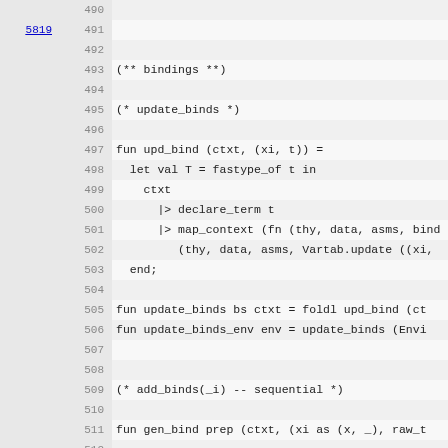490  (empty line)
491  5819 (link)
492  (empty line)
493  (* bindings *)
494  (empty line)
495  (* update_binds *)
496  (empty line)
497  fun upd_bind (ctxt, (xi, t)) =
498    let val T = fastype_of t in
499      ctxt
500        |> declare_term t
501        |> map_context (fn (thy, data, asms, bind
502            (thy, data, asms, Vartab.update ((xi,
503    end;
504  (empty line)
505  fun update_binds bs ctxt = foldl upd_bind (ct
506  fun update_binds_env env = update_binds (Envi
507  (empty line)
508  (empty line)
509  (* add_binds(_i) -- sequential *)
510  (empty line)
511  fun gen_bind prep (ctxt, (xi as (x, _), raw_t